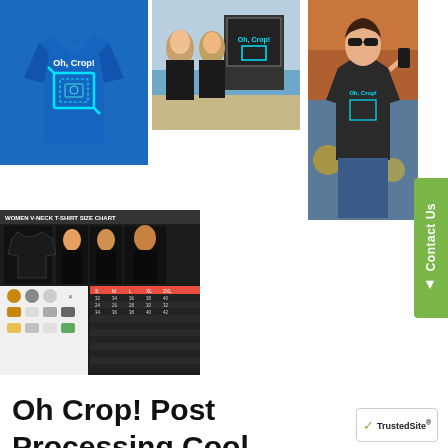[Figure (photo): Blue v-neck t-shirt with 'Oh Crop!' photography crop icon design]
[Figure (photo): Two women wearing black Oh Crop t-shirts near a bus stop advertisement]
[Figure (photo): Woman wearing dark grey Oh Crop v-neck t-shirt outdoors with yellow flowers]
[Figure (table-as-image): Women V-Neck T-Shirt size chart with model photos and measurement table]
Oh Crop! Post Processing Cool Photography Funny Photographer Gifts VNeck TShirts